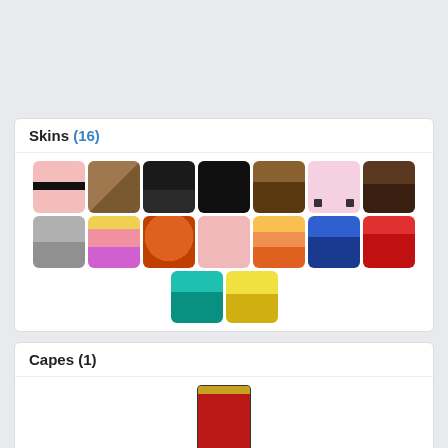Skins (16)
[Figure (illustration): Grid of 16 Minecraft skin thumbnails arranged in two rows]
Capes (1)
[Figure (illustration): A single Minecraft cape thumbnail showing a dark gold top and red body]
OptiFine Cape
[Figure (illustration): OptiFine Cape button, partially visible at bottom]